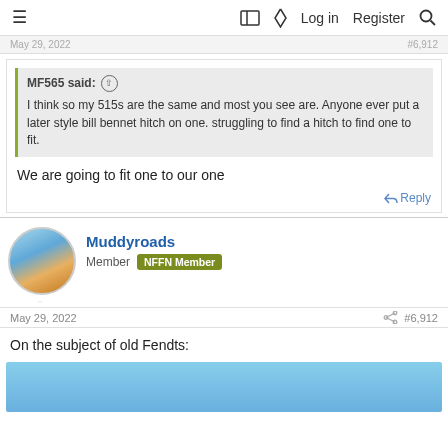☰  🔖  ⚡  Log in  Register  🔍
May 29, 2022  ...  #6,912
MF565 said: ↑  I think so my 515s are the same and most you see are. Anyone ever put a later style bill bennet hitch on one. struggling to find a hitch to find one to fit.
We are going to fit one to our one
↩ Reply
Muddyroads
Member  NFFN Member
May 29, 2022  #6,912
On the subject of old Fendts:
[Figure (photo): Blue sky image preview at bottom of page]